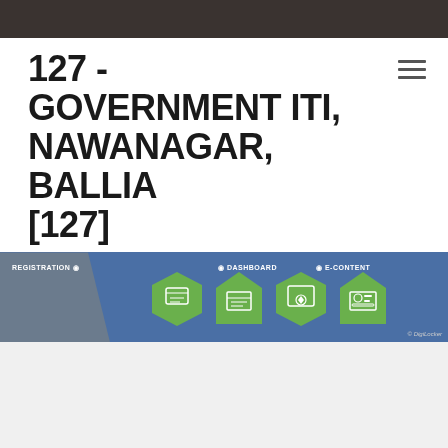127 - GOVERNMENT ITI, NAWANAGAR, BALLIA [127]
[Figure (screenshot): Navigation banner with blue background showing REGISTRATION, DASHBOARD, E-CONTENT links and green hexagonal/house-shaped icons, with DigiLocker watermark]